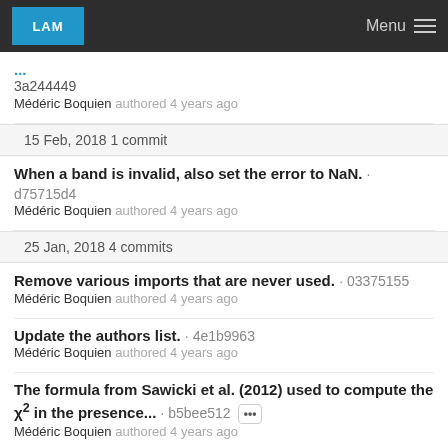LAM | Menu
3a244449
Médéric Boquien authored 4 years ago
15 Feb, 2018 1 commit
When a band is invalid, also set the error to NaN. · d75715d4
Médéric Boquien authored 4 years ago
25 Jan, 2018 4 commits
Remove various imports that are never used. · 03375155
Médéric Boquien authored 4 years ago
Update the authors list. · 4e1b9963
Médéric Boquien authored 4 years ago
The formula from Sawicki et al. (2012) used to compute the χ² in the presence... · b5bee512
Médéric Boquien authored 4 years ago